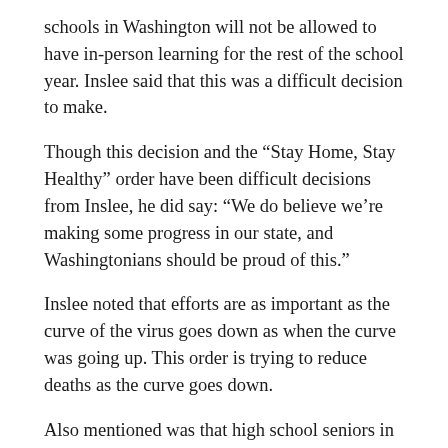schools in Washington will not be allowed to have in-person learning for the rest of the school year. Inslee said that this was a difficult decision to make.
Though this decision and the “Stay Home, Stay Healthy” order have been difficult decisions from Inslee, he did say: “We do believe we’re making some progress in our state, and Washingtonians should be proud of this.”
Inslee noted that efforts are as important as the curve of the virus goes down as when the curve was going up. This order is trying to reduce deaths as the curve goes down.
Also mentioned was that high school seniors in good standing will receive their diplomas this year. Inslee told students: “Your grades will not suffer because of this, but we need you to do your part too.”
School districts are expected to provide flexibility in